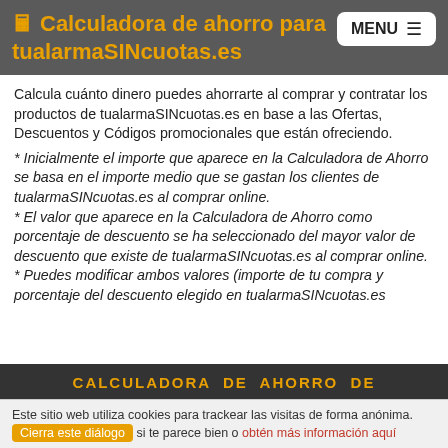🖩 Calculadora de ahorro para tualarmaSINcuotas.es | MENU
Calcula cuánto dinero puedes ahorrarte al comprar y contratar los productos de tualarmaSINcuotas.es en base a las Ofertas, Descuentos y Códigos promocionales que están ofreciendo.
* Inicialmente el importe que aparece en la Calculadora de Ahorro se basa en el importe medio que se gastan los clientes de tualarmaSINcuotas.es al comprar online.
* El valor que aparece en la Calculadora de Ahorro como porcentaje de descuento se ha seleccionado del mayor valor de descuento que existe de tualarmaSINcuotas.es al comprar online.
* Puedes modificar ambos valores (importe de tu compra y porcentaje del descuento elegido en tualarmaSINcuotas.es
CALCULADORA DE AHORRO DE
Este sitio web utiliza cookies para trackear las visitas de forma anónima. Cierra este diálogo si te parece bien o obtén más información aquí